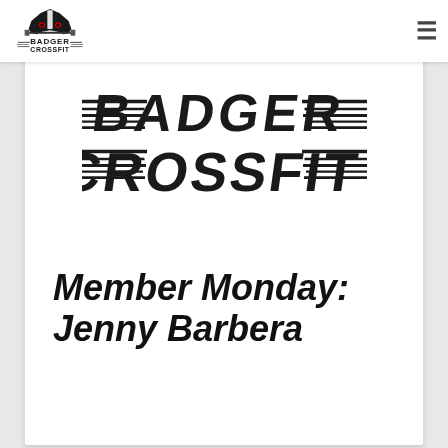Badger CrossFit
[Figure (logo): Badger CrossFit logo — large styled text BADGER CROSSFIT with speed lines and badger icon, black on white]
Member Monday: Jenny Barbera